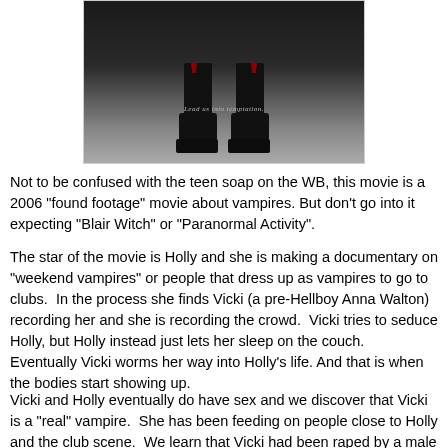[Figure (photo): Movie poster image showing boots/legs against a dark background with the tagline 'Lead us into temptation.']
Not to be confused with the teen soap on the WB, this movie is a 2006 "found footage" movie about vampires. But don't go into it expecting "Blair Witch" or "Paranormal Activity".
The star of the movie is Holly and she is making a documentary on "weekend vampires" or people that dress up as vampires to go to clubs.  In the process she finds Vicki (a pre-Hellboy Anna Walton) recording her and she is recording the crowd.  Vicki tries to seduce Holly, but Holly instead just lets her sleep on the couch.  Eventually Vicki worms her way into Holly's life. And that is when the bodies start showing up.
Vicki and Holly eventually do have sex and we discover that Vicki is a "real" vampire.  She has been feeding on people close to Holly and the club scene.  We learn that Vicki had been raped by a male vampire and left to die. Now she was pregnant and needs to feed more and more.